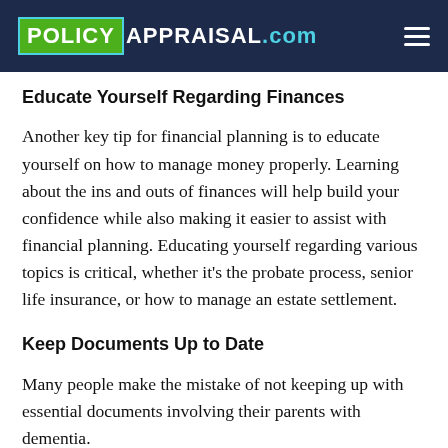POLICY APPRAISAL.COM
Educate Yourself Regarding Finances
Another key tip for financial planning is to educate yourself on how to manage money properly. Learning about the ins and outs of finances will help build your confidence while also making it easier to assist with financial planning. Educating yourself regarding various topics is critical, whether it's the probate process, senior life insurance, or how to manage an estate settlement.
Keep Documents Up to Date
Many people make the mistake of not keeping up with essential documents involving their parents with dementia.